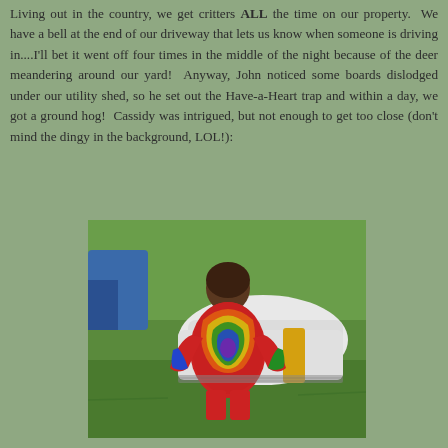Living out in the country, we get critters ALL the time on our property.  We have a bell at the end of our driveway that lets us know when someone is driving in....I'll bet it went off four times in the middle of the night because of the deer meandering around our yard!  Anyway, John noticed some boards dislodged under our utility shed, so he set out the Have-a-Heart trap and within a day, we got a ground hog!  Cassidy was intrigued, but not enough to get too close (don't mind the dingy in the background, LOL!):
[Figure (photo): A child wearing a colorful tie-dye shirt with rainbow swirl pattern stands with their back to the camera, looking at a white plastic object (likely the Have-a-Heart trap) on green grass. A blue object is visible on the left side.]